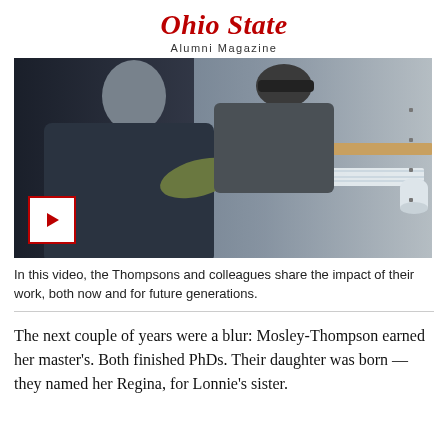Ohio State Alumni Magazine
[Figure (photo): Two researchers in winter coats leaning over what appears to be an ice core sample tray. A woman with grey hair wearing green gloves points at the core while a man in a dark hat looks on. A red-bordered play button icon is overlaid in the bottom-left corner of the photo.]
In this video, the Thompsons and colleagues share the impact of their work, both now and for future generations.
The next couple of years were a blur: Mosley-Thompson earned her master's. Both finished PhDs. Their daughter was born — they named her Regina, for Lonnie's sister.